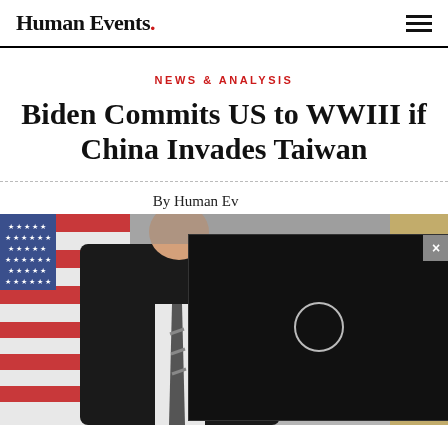Human Events.
NEWS & ANALYSIS
Biden Commits US to WWIII if China Invades Taiwan
By Human Events
[Figure (photo): Photo of a man in a dark suit and striped tie standing in front of a US flag and ornate gold decor, partially obscured by a black video player overlay popup with a circular play button icon and a close (x) button.]